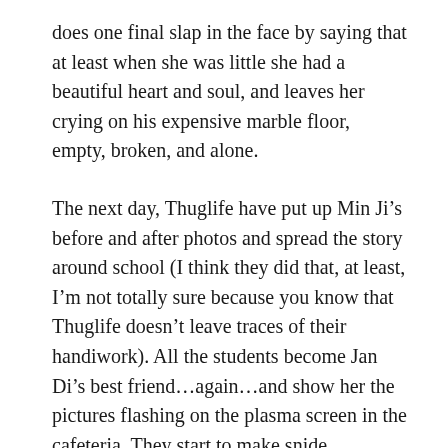does one final slap in the face by saying that at least when she was little she had a beautiful heart and soul, and leaves her crying on his expensive marble floor, empty, broken, and alone.
The next day, Thuglife have put up Min Ji’s before and after photos and spread the story around school (I think they did that, at least, I’m not totally sure because you know that Thuglife doesn’t leave traces of their handiwork). All the students become Jan Di’s best friend…again…and show her the pictures flashing on the plasma screen in the cafeteria. They start to make snide comments about Min Ji and how ugly she was and how mean she was